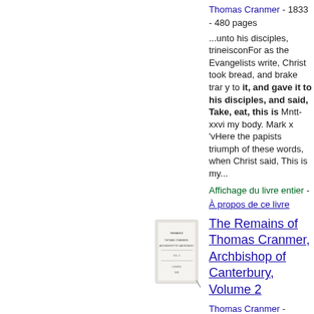Thomas Cranmer - 1833 - 480 pages
...unto his disciples, trineisconFor as the Evangelists write, Christ took bread, and brake trar y to it, and gave it to his disciples, and said, Take, eat, this is Mntt- xxvi my body. Mark x 'vHere the papists triumph of these words, when Christ said, This is my...
Affichage du livre entier - À propos de ce livre
[Figure (illustration): Thumbnail image of a book cover for The Remains of Thomas Cranmer, Archbishop of Canterbury, Volume 2]
The Remains of Thomas Cranmer, Archbishop of Canterbury, Volume 2
Thomas Cranmer -